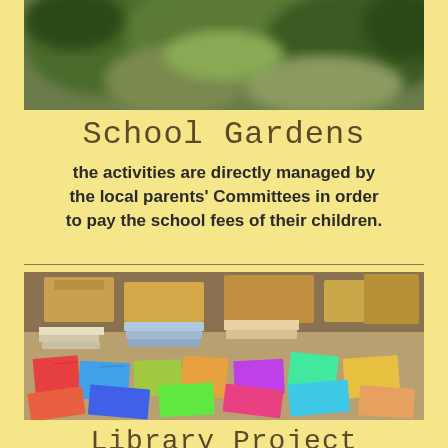[Figure (photo): Blurred outdoor photo showing greenery and soil, likely a school garden scene]
School Gardens
the activities are directly managed by the local parents' Committees in order to pay the school fees of their children.
[Figure (photo): Photo of colorful children's books and notebooks spread out on the ground, with cardboard boxes in the background]
Library Project